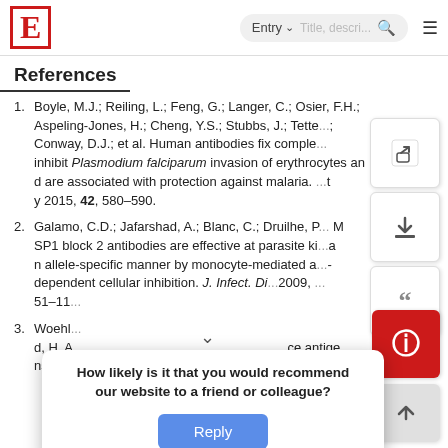E  [logo]  Entry ▾  [search]  ☰
References
1. Boyle, M.J.; Reiling, L.; Feng, G.; Langer, C.; Osier, F.H.; Aspeling-Jones, H.; Cheng, Y.S.; Stubbs, J.; Tette...; Conway, D.J.; et al. Human antibodies fix comple... inhibit Plasmodium falciparum invasion of erythrocytes and are associated with protection against malaria. ...y 2015, 42, 580–590.
2. Galamo, C.D.; Jafarshad, A.; Blanc, C.; Druilhe, P...; M SP1 block 2 antibodies are effective at parasite ki...g a n allele-specific manner by monocyte-mediated a...- dependent cellular inhibition. J. Infect. Di...2009, ... 51–11...
3. Woehl... d, H. A... ce antigens of t... lciparum
How likely is it that you would recommend our website to a friend or colleague?
Reply